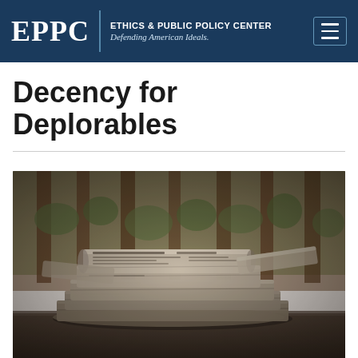EPPC | ETHICS & PUBLIC POLICY CENTER Defending American Ideals.
Decency for Deplorables
[Figure (photo): A stack of folded newspapers piled on a wooden table, with a blurred background of wooden columns and greenery.]